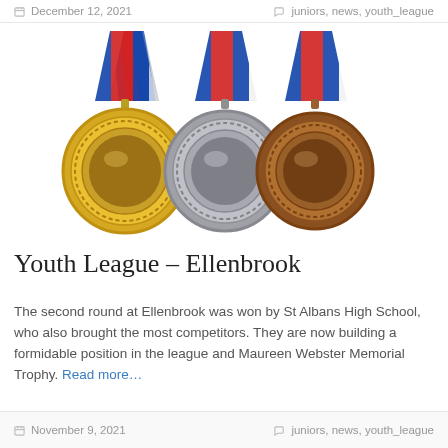December 12, 2021    juniors, news, youth_league
[Figure (photo): Three medals (gold, silver, bronze) with red, white and blue ribbons, displayed side by side.]
Youth League – Ellenbrook
The second round at Ellenbrook was won by St Albans High School, who also brought the most competitors. They are now building a formidable position in the league and Maureen Webster Memorial Trophy. Read more…
November 9, 2021    juniors, news, youth_league